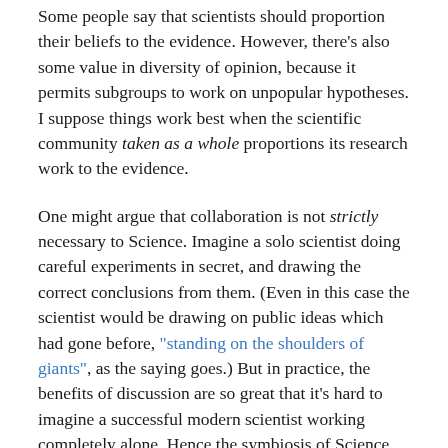Some people say that scientists should proportion their beliefs to the evidence.  However, there's also some value in diversity of opinion, because it permits subgroups to work on unpopular hypotheses.  I suppose things work best when the scientific community taken as a whole proportions its research work to the evidence.
One might argue that collaboration is not strictly necessary to Science.  Imagine a solo scientist doing careful experiments in secret, and drawing the correct conclusions from them.  (Even in this case the scientist would be drawing on public ideas which had gone before, "standing on the shoulders of giants", as the saying goes.)  But in practice, the benefits of discussion are so great that it's hard to imagine a successful modern scientist working completely alone.  Hence the symbiosis of Science with the Academy.
Individuals who think they can revolutionize Science all